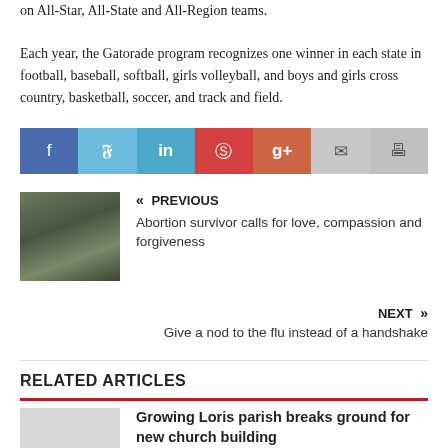on All-Star, All-State and All-Region teams. Each year, the Gatorade program recognizes one winner in each state in football, baseball, softball, girls volleyball, and boys and girls cross country, basketball, soccer, and track and field.
[Figure (other): Social media sharing buttons: Facebook, Twitter, LinkedIn, Pinterest, Google+, Email, Print]
[Figure (photo): Thumbnail image for previous article about abortion survivor]
« PREVIOUS
Abortion survivor calls for love, compassion and forgiveness
NEXT »
Give a nod to the flu instead of a handshake
RELATED ARTICLES
Growing Loris parish breaks ground for new church building